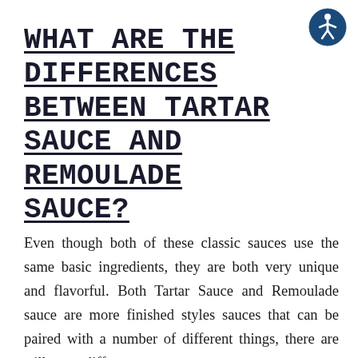[Figure (logo): Accessibility icon — white wheelchair/person symbol inside a dark blue circle]
WHAT ARE THE DIFFERENCES BETWEEN TARTAR SAUCE AND REMOULADE SAUCE?
Even though both of these classic sauces use the same basic ingredients, they are both very unique and flavorful. Both Tartar Sauce and Remoulade sauce are more finished styles sauces that can be paired with a number of different things, there are still some diff…